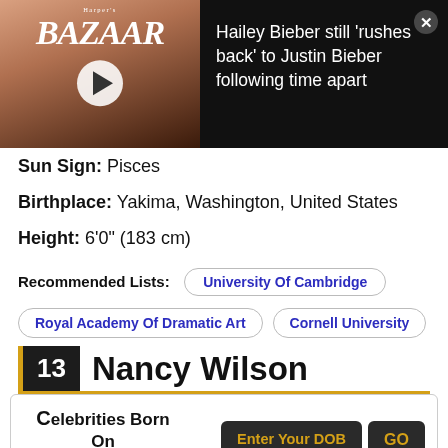[Figure (screenshot): Harper's Bazaar magazine cover video thumbnail with play button, showing a woman with dark hair on a pink background]
Hailey Bieber still 'rushes back' to Justin Bieber following time apart
Sun Sign: Pisces
Birthplace: Yakima, Washington, United States
Height: 6'0" (183 cm)
Recommended Lists:
University Of Cambridge
Royal Academy Of Dramatic Art
Cornell University
13 Nancy Wilson
Celebrities Born On My Birthday?
Enter Your DOB
GO